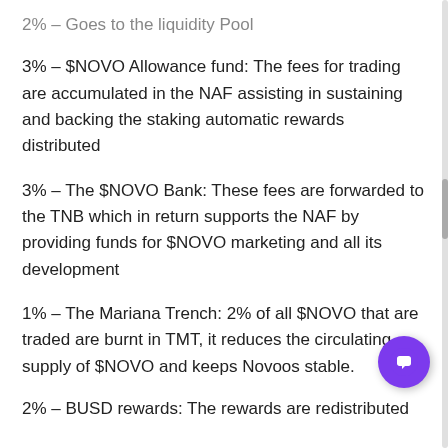2% – Goes to the liquidity Pool
3% – $NOVO Allowance fund: The fees for trading are accumulated in the NAF assisting in sustaining and backing the staking automatic rewards distributed
3% – The $NOVO Bank: These fees are forwarded to the TNB which in return supports the NAF by providing funds for $NOVO marketing and all its development
1% – The Mariana Trench: 2% of all $NOVO that are traded are burnt in TMT, it reduces the circulating supply of $NOVO and keeps Novoos stable.
2% – BUSD rewards: The rewards are redistributed